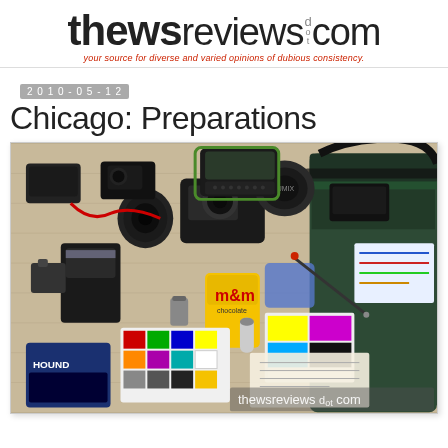thewsreviews dot com — your source for diverse and varied opinions of dubious consistency.
2010-05-12
Chicago: Preparations
[Figure (photo): Overhead flat-lay photo of photography gear and travel items spread on a wooden floor, including cameras, lenses, flash units, a bag, color charts, M&M candy, maps, and various accessories. A green messenger/shoulder bag is visible on the right. A watermark reads 'thewsreviews dot com'.]